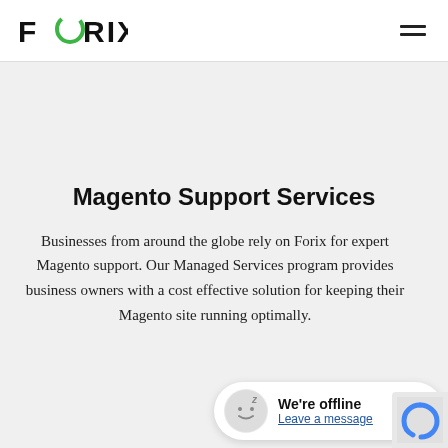FORIX
Magento Support Services
Businesses from around the globe rely on Forix for expert Magento support. Our Managed Services program provides business owners with a cost effective solution for keeping their Magento site running optimally.